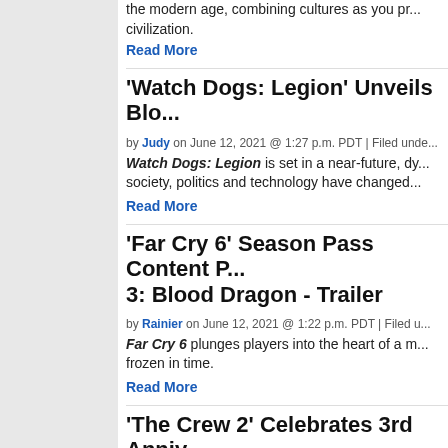the modern age, combining cultures as you pr... civilization.
Read More
'Watch Dogs: Legion' Unveils Blo...
by Judy on June 12, 2021 @ 1:27 p.m. PDT | Filed unde...
Watch Dogs: Legion is set in a near-future, dy... society, politics and technology have changed...
Read More
'Far Cry 6' Season Pass Content P... 3: Blood Dragon - Trailer
by Rainier on June 12, 2021 @ 1:22 p.m. PDT | Filed u...
Far Cry 6 plunges players into the heart of a m... frozen in time.
Read More
'The Crew 2' Celebrates 3rd Anniv... Ep. 1 Coming Next Month - Traile...
by Rainier on June 12, 2021 @ 1:08 p.m. PDT | Filed u...
The open-world racing game returns in The Cr... motorsports spirit inside a fully redesigned USA...
Read More